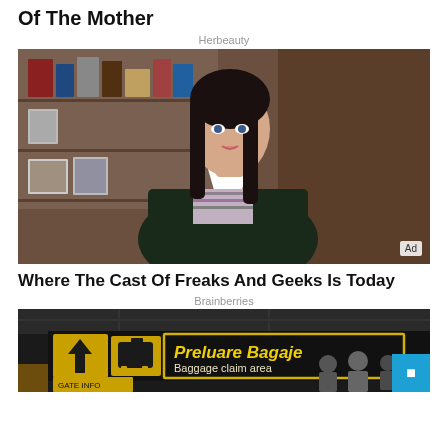Of The Mother
Herbeauty
[Figure (photo): Young woman with long braided dark hair, wearing a dark blazer over a patterned sweater, standing indoors with bookshelves in the background. Ad badge visible in bottom right.]
Where The Cast Of Freaks And Geeks Is Today
Brainberries
[Figure (photo): Airport baggage claim area sign reading 'Preluare Bagaje / Baggage claim area' with yellow arrow and luggage icon, people walking in background. Blue scroll button in bottom right corner.]